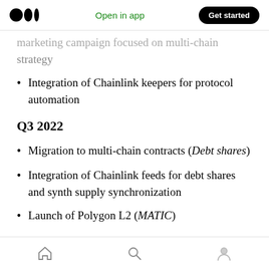Medium logo | Open in app | Get started
marketing campaign focused on multi-chain strategy
Integration of Chainlink keepers for protocol automation
Q3 2022
Migration to multi-chain contracts (Debt shares)
Integration of Chainlink feeds for debt shares and synth supply synchronization
Launch of Polygon L2 (MATIC)
Home | Search | Profile